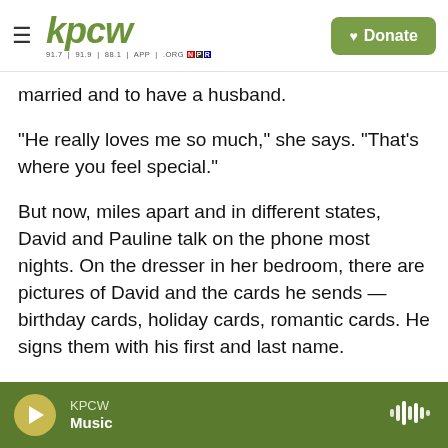KPCW | 91.7 | 91.9 | 88.1 | APP | .ORG | NPR | Donate
married and to have a husband.
"He really loves me so much," she says. "That's where you feel special."
But now, miles apart and in different states, David and Pauline talk on the phone most nights. On the dresser in her bedroom, there are pictures of David and the cards he sends — birthday cards, holiday cards, romantic cards. He signs them with his first and last name.
Pauline misses David's kisses. She misses him in her bed. But she won't go back to her old family
KPCW Music